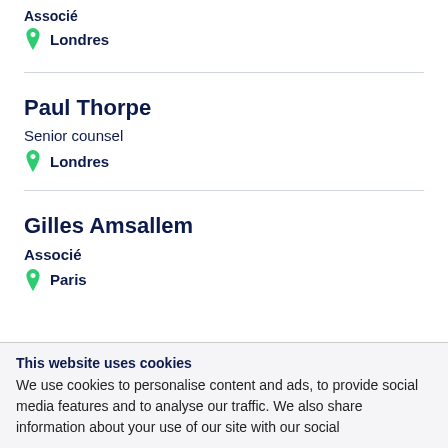Associé
Londres
Paul Thorpe
Senior counsel
Londres
Gilles Amsallem
Associé
Paris
This website uses cookies
We use cookies to personalise content and ads, to provide social media features and to analyse our traffic. We also share information about your use of our site with our social